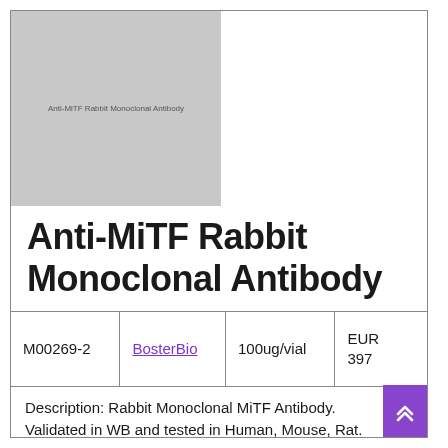[Figure (photo): Gray placeholder image with text 'Anti-MITF Rabbit Monoclonal Antibody']
Anti-MiTF Rabbit Monoclonal Antibody
|  |  |  |  |
| --- | --- | --- | --- |
| M00269-2 | BosterBio | 100ug/vial | EUR 397 |
Description: Rabbit Monoclonal MiTF Antibody. Validated in WB and tested in Human, Mouse, Rat.